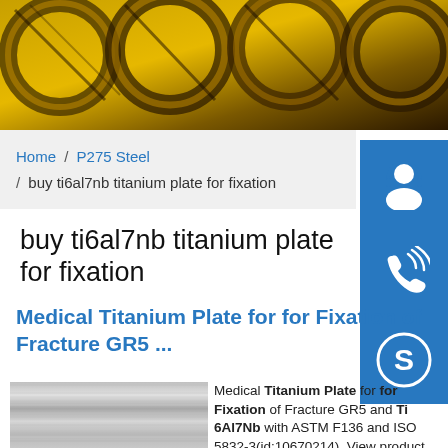[Figure (photo): Industrial steel coils banner image with yellow and brown metallic coils]
Home / P275 Steel / buy ti6al7nb titanium plate for fixation
buy ti6al7nb titanium plate for fixation
Medical Titanium Plate for for Fixation of Fracture GR5 ...
[Figure (photo): Brushed titanium metal plate with silver metallic surface]
Medical Titanium Plate for for Fixation of Fracture GR5 and Ti 6Al7Nb with ASTM F136 and ISO 5832-3(id:10670214). View product details of Medical Titanium